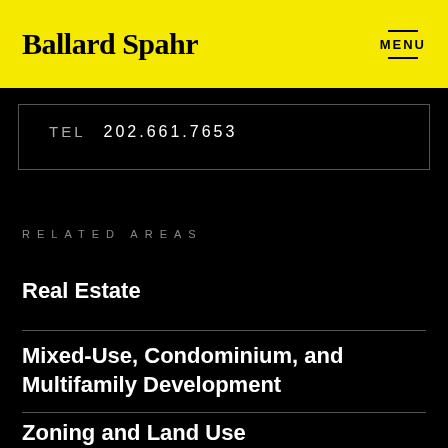Ballard Spahr | MENU
TEL  202.661.7653
RELATED AREAS
Real Estate
Mixed-Use, Condominium, and Multifamily Development
Zoning and Land Use